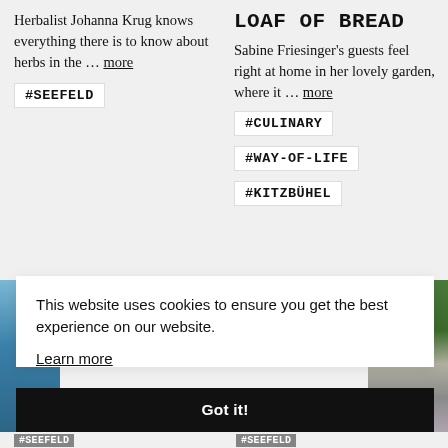Herbalist Johanna Krug knows everything there is to know about herbs in the … more
#SEEFELD
LOAF OF BREAD
Sabine Friesinger's guests feel right at home in her lovely garden, where it … more
#CULINARY
#WAY-OF-LIFE
#KITZBÜHEL
[Figure (photo): Partial view of outdoor scene on left edge]
[Figure (photo): Partial portrait of a woman on right edge]
This website uses cookies to ensure you get the best experience on our website. Learn more
Got it!
#SEEFELD
#SEEFELD